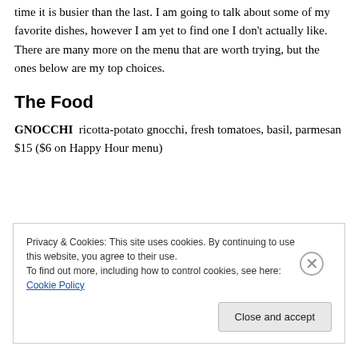time it is busier than the last. I am going to talk about some of my favorite dishes, however I am yet to find one I don't actually like.  There are many more on the menu that are worth trying, but the ones below are my top choices.
The Food
GNOCCHI  ricotta-potato gnocchi, fresh tomatoes, basil, parmesan $15 ($6 on Happy Hour menu)
Privacy & Cookies: This site uses cookies. By continuing to use this website, you agree to their use.
To find out more, including how to control cookies, see here: Cookie Policy
Close and accept